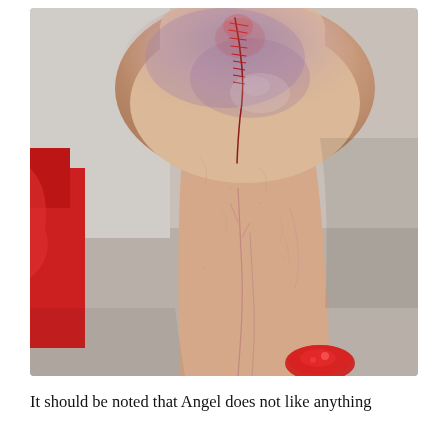[Figure (photo): Close-up photograph of a human knee/leg showing surgical scars and bruising. There is a sutured incision line visible near the top of the knee with redness and bruising around it, and additional scar lines running down the lower leg. The skin appears pale with purple bruising. Red fabric/clothing visible on the left side and a red accessory visible at the bottom right.]
It should be noted that Angel does not like anything